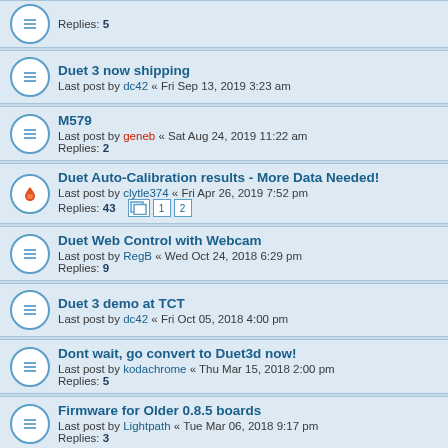Replies: 5 (partial, top of page)
Duet 3 now shipping
Last post by dc42 « Fri Sep 13, 2019 3:23 am
M579
Last post by geneb « Sat Aug 24, 2019 11:22 am
Replies: 2
Duet Auto-Calibration results - More Data Needed!
Last post by clytle374 « Fri Apr 26, 2019 7:52 pm
Replies: 43
Duet Web Control with Webcam
Last post by RegB « Wed Oct 24, 2018 6:29 pm
Replies: 9
Duet 3 demo at TCT
Last post by dc42 « Fri Oct 05, 2018 4:00 pm
Dont wait, go convert to Duet3d now!
Last post by kodachrome « Thu Mar 15, 2018 2:00 pm
Replies: 5
Firmware for Older 0.8.5 boards
Last post by Lightpath « Tue Mar 06, 2018 9:17 pm
Replies: 3
Updating webcontrol issue
Last post by dc42 « Thu Feb 22, 2018 1:44 am
Replies: 3
Duet 8.5 Groundwire overheating
Last post by dc42 « Sun Feb 11, 2018 4:45 am
Replies: 6